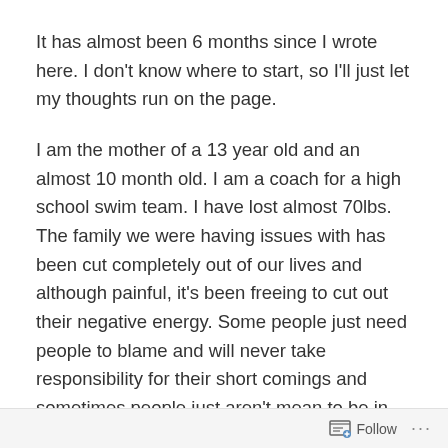It has almost been 6 months since I wrote here. I don't know where to start, so I'll just let my thoughts run on the page.
I am the mother of a 13 year old and an almost 10 month old. I am a coach for a high school swim team. I have lost almost 70lbs. The family we were having issues with has been cut completely out of our lives and although painful, it's been freeing to cut out their negative energy. Some people just need people to blame and will never take responsibility for their short comings and sometimes people just aren't mean to be in our lives. I've accepted it and I'm at peace with it. I apologized for my short comings and they just weren't ready to do the same.
Follow ···